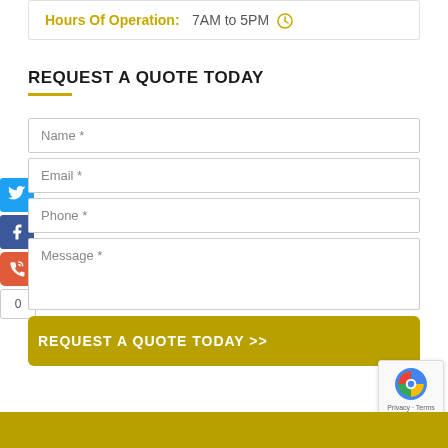Hours Of Operation:   7AM to 5PM
REQUEST A QUOTE TODAY
[Figure (screenshot): Web form with fields: Name *, Email *, Phone *, Message *, and a submit button labeled REQUEST A QUOTE TODAY >>]
[Figure (infographic): Social media sidebar icons: Twitter (blue), Facebook (blue), phone (orange-red), and share count badge showing 0]
[Figure (logo): reCAPTCHA badge with Google reCAPTCHA logo and text Privacy - Terms]